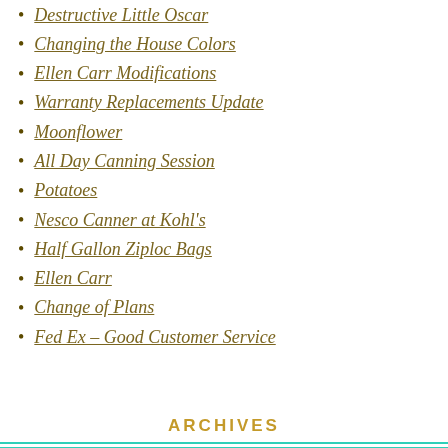Destructive Little Oscar
Changing the House Colors
Ellen Carr Modifications
Warranty Replacements Update
Moonflower
All Day Canning Session
Potatoes
Nesco Canner at Kohl's
Half Gallon Ziploc Bags
Ellen Carr
Change of Plans
Fed Ex – Good Customer Service
ARCHIVES